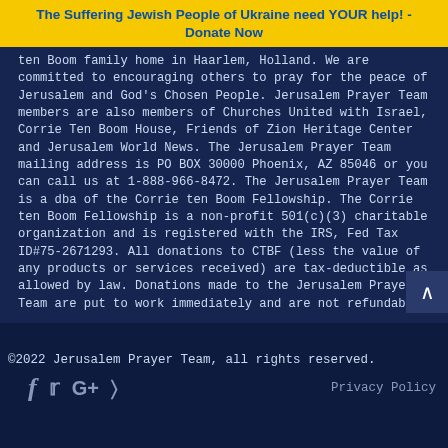The Suffering Jewish People of Ukraine need YOUR help! - Donate Now
ten Boom family home in Haarlem, Holland. We are committed to encouraging others to pray for the peace of Jerusalem and God's Chosen People. Jerusalem Prayer Team members are also members of Churches United with Israel, Corrie Ten Boom House, Friends of Zion Heritage Center and Jerusalem World News. The Jerusalem Prayer Team mailing address is PO BOX 30000 Phoenix, AZ 85046 or you can call us at 1-888-966-8472. The Jerusalem Prayer Team is a dba of the Corrie ten Boom Fellowship. The Corrie ten Boom Fellowship is a non-profit 501(c)(3) charitable organization and is registered with the IRS, Fed Tax ID#75-2671293. All donations to CTBF (less the value of any products or services received) are tax-deductible as allowed by law. Donations made to the Jerusalem Prayer Team are put to work immediately and are not refundable.
©2022 Jerusalem Prayer Team, all rights reserved.
Privacy Policy